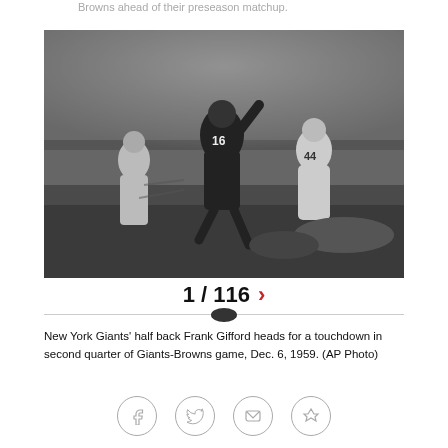Browns ahead of their preseason matchup.
[Figure (photo): Black and white football photo of New York Giants half back Frank Gifford (#16) heading for a touchdown in second quarter of Giants-Browns game, Dec. 6, 1959. Player #44 visible on right side.]
1 / 116 >
New York Giants' half back Frank Gifford heads for a touchdown in second quarter of Giants-Browns game, Dec. 6, 1959. (AP Photo)